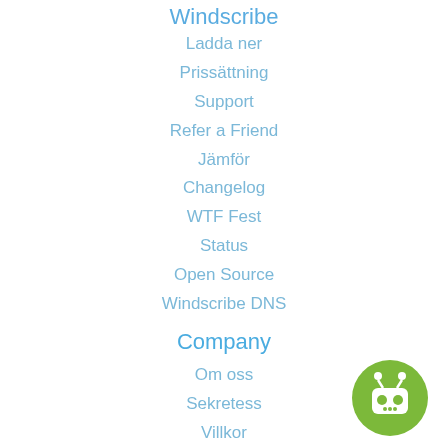Windscribe
Ladda ner
Prissättning
Support
Refer a Friend
Jämför
Changelog
WTF Fest
Status
Open Source
Windscribe DNS
Company
Om oss
Sekretess
Villkor
VDP
Jobs
Blogg
[Figure (illustration): Green circular robot/chat button with antenna icon in bottom right corner]